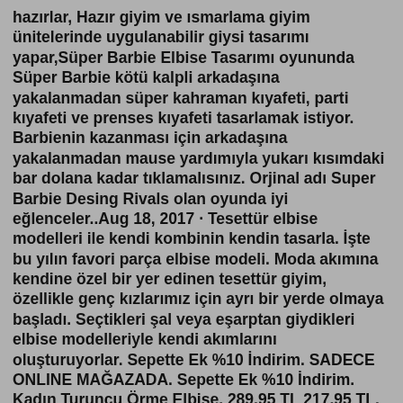hazırlar, Hazır giyim ve ısmarlama giyim ünitelerinde uygulanabilir giysi tasarımı yapar,Süper Barbie Elbise Tasarımı oyununda Süper Barbie kötü kalpli arkadaşına yakalanmadan süper kahraman kıyafeti, parti kıyafeti ve prenses kıyafeti tasarlamak istiyor. Barbienin kazanması için arkadaşına yakalanmadan mause yardımıyla yukarı kısımdaki bar dolana kadar tıklamalısınız. Orjinal adı Super Barbie Desing Rivals olan oyunda iyi eğlenceler..Aug 18, 2017 · Tesettür elbise modelleri ile kendi kombinin kendin tasarla. İşte bu yılın favori parça elbise modeli. Moda akımına kendine özel bir yer edinen tesettür giyim, özellikle genç kızlarımız için ayrı bir yerde olmaya başladı. Seçtikleri şal veya eşarptan giydikleri elbise modelleriyle kendi akımlarını oluşturuyorlar. Sepette Ek %10 İndirim. SADECE ONLINE MAĞAZADA. Sepette Ek %10 İndirim. Kadın Turuncu Örme Elbise. 289,95 TL 217,95 TL. Sepetteki Fiyatı 196,16 TL. 15 Renk. Sepette Ek %10 İndirim. SADECE ONLINE MAĞAZADA.Web Tasarımı ve Kodlama Hizmetleri D.M.İ. Hazırl BÜlten Barbi Arinin